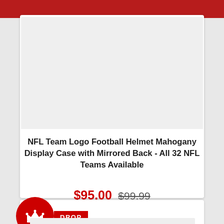[Figure (photo): Product image placeholder — light gray rectangle representing NFL Team Logo Football Helmet Mahogany Display Case product photo]
NFL Team Logo Football Helmet Mahogany Display Case with Mirrored Back - All 32 NFL Teams Available
$95.00  $99.99
[Figure (logo): Red circle with white crown icon and red DROP label badge]
[Figure (photo): Second product image placeholder — partial gray rectangle at bottom of page]